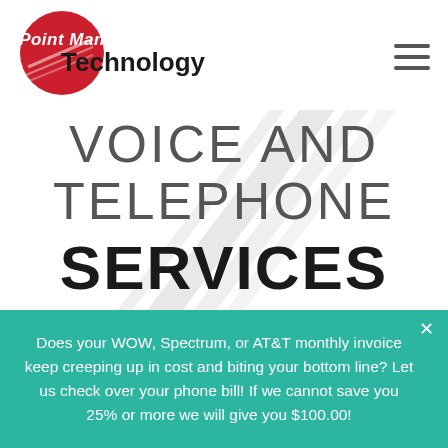[Figure (logo): Point Man Technology logo — red circle with white italic bold text 'Point Man' and black bold text 'Technology' with speed lines]
VOICE AND TELEPHONE SERVICES
Does your WOW, Spectrum, or AT&T monthly invoice keep creeping up in cost and biting your bottom line? Let us check over your phone bill! If we cannot save you 25% or more we will give you $100.00!